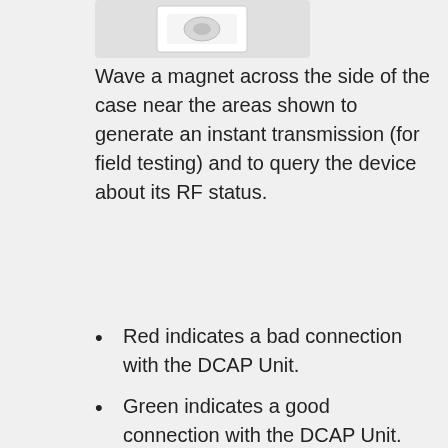[Figure (photo): Partial image of a device case showing areas to wave a magnet across, with a white rectangular region visible at the top.]
Wave a magnet across the side of the case near the areas shown to generate an instant transmission (for field testing) and to query the device about its RF status.
Red indicates a bad connection with the DCAP Unit.
Green indicates a good connection with the DCAP Unit.